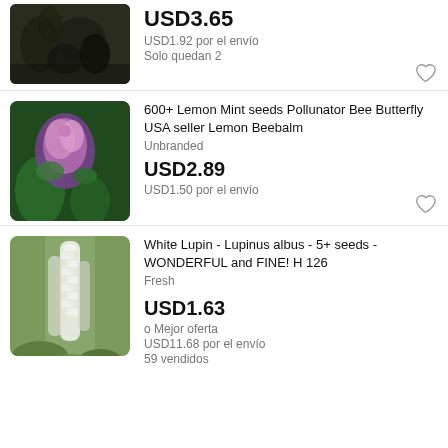[Figure (photo): Dark plant/herb photo (partially visible at top)]
USD3.65
USD1.92 por el envío
Solo quedan 2
[Figure (photo): Lemon Mint / Beebalm flower photo with pink-purple blooms and green leaves]
600+ Lemon Mint seeds Pollunator Bee Butterfly USA seller Lemon Beebalm
Unbranded
USD2.89
USD1.50 por el envío
[Figure (photo): White Lupin flower spike (Lupinus albus) photo with tall white blossoms]
White Lupin - Lupinus albus - 5+ seeds - WONDERFUL and FINE! H 126
Fresh
USD1.63
o Mejor oferta
USD11.68 por el envío
59 vendidos